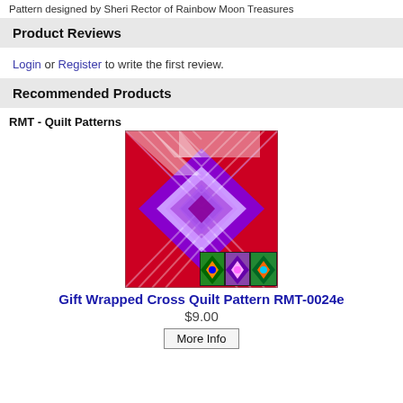Pattern designed by Sheri Rector of Rainbow Moon Treasures
Product Reviews
Login or Register to write the first review.
Recommended Products
RMT - Quilt Patterns
[Figure (photo): Colorful quilt pattern image showing Gift Wrapped Cross design with purple, red, white chevron and diamond patterns, with three small thumbnail images at bottom]
Gift Wrapped Cross Quilt Pattern RMT-0024e
$9.00
More Info